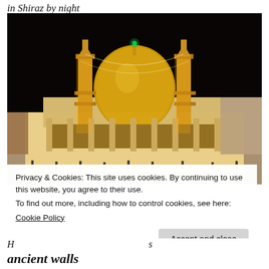in Shiraz by night
[Figure (photo): Illuminated mosque shrine at night in Shiraz, Iran. A large golden dome is lit up in the center, flanked by two tall minarets decorated with golden lights and strings of lights connecting them. The facade has a row of arched columns. People are visible at ground level.]
Privacy & Cookies: This site uses cookies. By continuing to use this website, you agree to their use.
To find out more, including how to control cookies, see here:
Cookie Policy
Accept and close
ancient walls